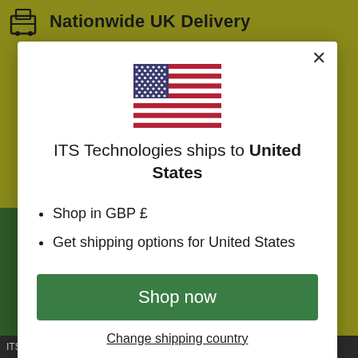Nationwide UK Delivery
[Figure (illustration): US flag (stars and stripes) centered in modal dialog]
ITS Technologies ships to United States
Shop in GBP £
Get shipping options for United States
Shop now
Change shipping country
ITS Technologies, PROFOLK Bank Chambers St. Petersgate